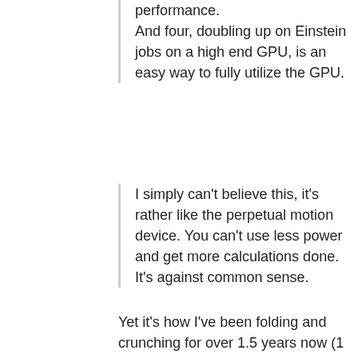performance.
And four, doubling up on Einstein jobs on a high end GPU, is an easy way to fully utilize the GPU.
I simply can't believe this, it's rather like the perpetual motion device. You can't use less power and get more calculations done. It's against common sense.
Yet it's how I've been folding and crunching for over 1.5 years now (1 year on RTX).
A lot of the GPU is passive during